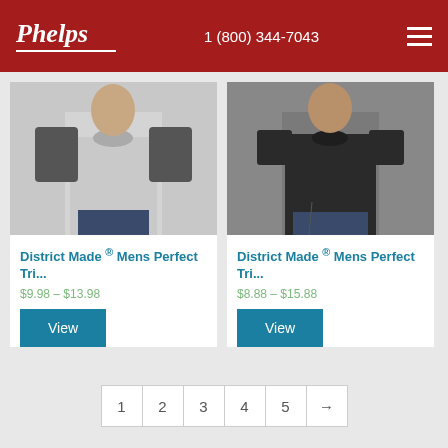Phelps | 1 (800) 344-7043
[Figure (photo): Man wearing grey raglan 3/4 sleeve shirt]
District Made ® Mens Perfect Tri...
$9.98 – $13.98
[Figure (photo): Man wearing black short sleeve t-shirt]
District Made ® Mens Perfect Tri...
$8.88 – $15.88
1 2 3 4 5 →